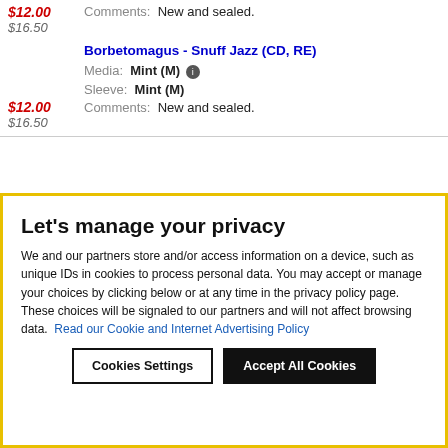$12.00  Comments: New and sealed.
$16.50
Borbetomagus - Snuff Jazz (CD, RE)
Media: Mint (M)
Sleeve: Mint (M)
Comments: New and sealed.
$12.00
$16.50
Let's manage your privacy
We and our partners store and/or access information on a device, such as unique IDs in cookies to process personal data. You may accept or manage your choices by clicking below or at any time in the privacy policy page. These choices will be signaled to our partners and will not affect browsing data. Read our Cookie and Internet Advertising Policy
Cookies Settings
Accept All Cookies